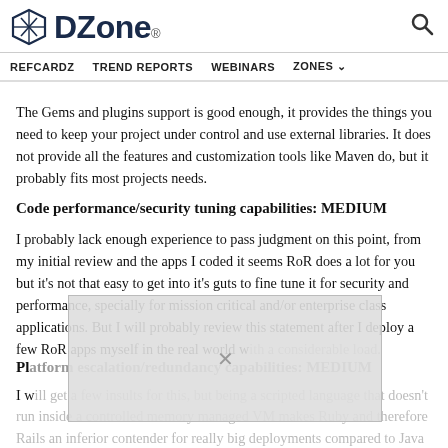DZone. [logo] [search icon]
REFCARDZ   TREND REPORTS   WEBINARS   ZONES
The Gems and plugins support is good enough, it provides the things you need to keep your project under control and use external libraries. It does not provide all the features and customization tools like Maven do, but it probably fits most projects needs.
Code performance/security tuning capabilities: MEDIUM
I probably lack enough experience to pass judgment on this point, from my initial review and the apps I coded it seems RoR does a lot for you but it's not that easy to get into it's guts to fine tune it for security and performance, specially for mission critical and/or enterprise class applications. But I will probably review this statement after I deploy a few RoR apps myself in the real world with a considerable load.
Platform escalation/redundancy capabilities: MEDIUM
I will get a few insults for this, but being a scripted language that doesn't run inside a controlled memory managed VM makes Ruby and therefore Rails an inferior contender for really big deployments compared to Java